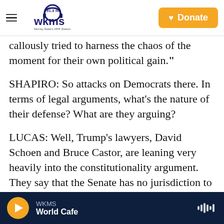WKMS 91.3 FM — Murray State's NPR Station | Donate
callously tried to harness the chaos of the moment for their own political gain."
SHAPIRO: So attacks on Democrats there. In terms of legal arguments, what's the nature of their defense? What are they arguing?
LUCAS: Well, Trump's lawyers, David Schoen and Bruce Castor, are leaning very heavily into the constitutionality argument. They say that the Senate has no jurisdiction to hold a trial of Trump now that he is no longer president. They say a conviction in a Senate trial
WKMS — World Cafe